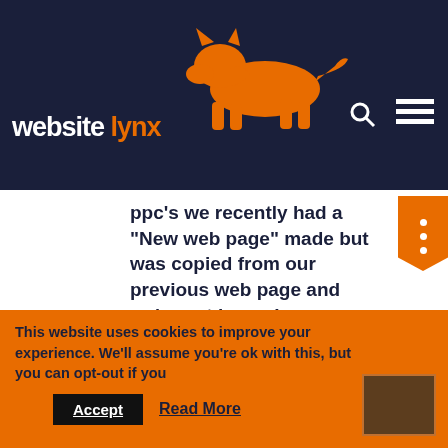[Figure (logo): Website Lynx logo: orange lynx animal silhouette above the text 'website lynx' in dark navy/white, with search icon and hamburger menu icon on the right, all on a dark navy background header]
ppc's we recently had a “New web page” made but was copied from our previous web page and we’re not happy!
I currently do PPC’s but no overly confident. Business has been slow for the last year and need to do something to get us work.
This website uses cookies to improve your experience. We'll assume you're ok with this, but you can opt-out if you